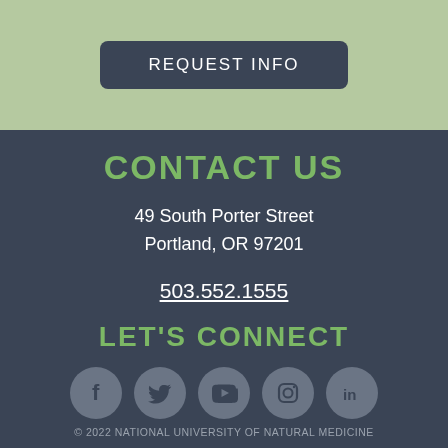REQUEST INFO
CONTACT US
49 South Porter Street
Portland, OR 97201
503.552.1555
LET'S CONNECT
[Figure (infographic): Five social media icons in grey circles: Facebook, Twitter, YouTube, Instagram, LinkedIn]
© 2022 NATIONAL UNIVERSITY OF NATURAL MEDICINE